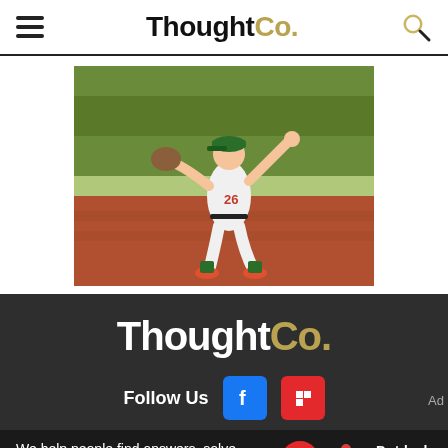ThoughtCo.
[Figure (photo): Baseball pitcher in white and green uniform mid-throw on a baseball field with green grass and red clay infield.]
[Figure (logo): ThoughtCo. logo in white and gold on dark background]
Follow Us
We help people find answers, solve problems and get inspired. Dotdash meredith